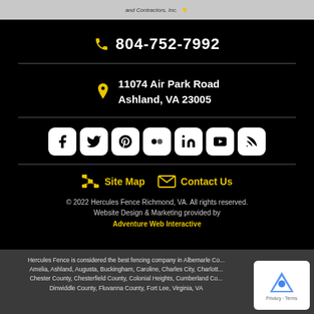and Contractors, Inc.
804-752-7992
11074 Air Park Road
Ashland, VA 23005
[Figure (other): Social media icons: Facebook, Twitter, Pinterest, Flickr, LinkedIn, YouTube, RSS]
Site Map   Contact Us
© 2022 Hercules Fence Richmond, VA. All rights reserved.
Website Design & Marketing provided by Adventure Web Interactive
Hercules Fence is considered the best fencing company in Albemarle Co... Amelia, Ashland, Augusta, Buckingham, Caroline, Charles City, Charlott... Chester County, Chesterfield County, Colonial Heights, Cumberland Co... Dinwiddle County, Fluvanna County, Fort Lee, Virginia, VA